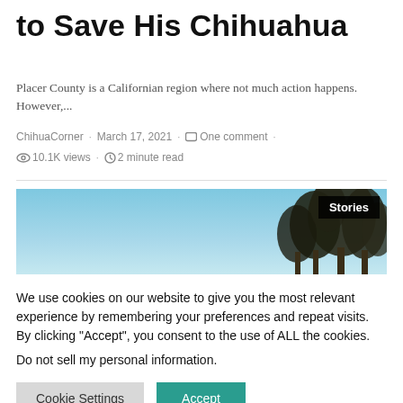to Save His Chihuahua
Placer County is a Californian region where not much action happens. However,...
ChihuaCorner · March 17, 2021 · One comment · 10.1K views · 2 minute read
[Figure (photo): Outdoor landscape photo showing trees against a blue sky, with a 'Stories' badge in the top right corner]
We use cookies on our website to give you the most relevant experience by remembering your preferences and repeat visits. By clicking "Accept", you consent to the use of ALL the cookies.
Do not sell my personal information.